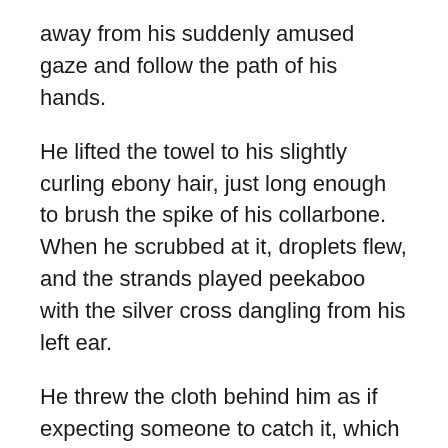away from his suddenly amused gaze and follow the path of his hands.

He lifted the towel to his slightly curling ebony hair, just long enough to brush the spike of his collarbone. When he scrubbed at it, droplets flew, and the strands played peekaboo with the silver cross dangling from his left ear.

He threw the cloth behind him as if expecting someone to catch it, which they did, before handing him an impossibly white shirt. While he drew it over his head, I glanced at Grace, who rolled her eyes.

"Sheriff," he greeted, with an accent so Irish I